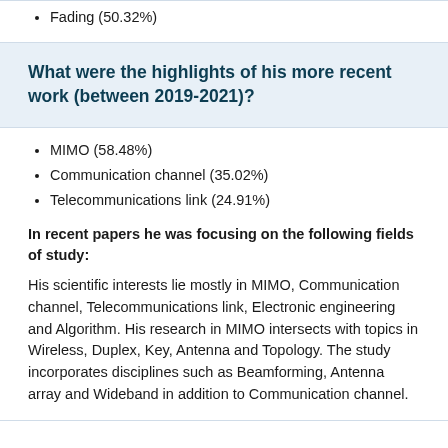Fading (50.32%)
What were the highlights of his more recent work (between 2019-2021)?
MIMO (58.48%)
Communication channel (35.02%)
Telecommunications link (24.91%)
In recent papers he was focusing on the following fields of study:
His scientific interests lie mostly in MIMO, Communication channel, Telecommunications link, Electronic engineering and Algorithm. His research in MIMO intersects with topics in Wireless, Duplex, Key, Antenna and Topology. The study incorporates disciplines such as Beamforming, Antenna array and Wideband in addition to Communication channel.